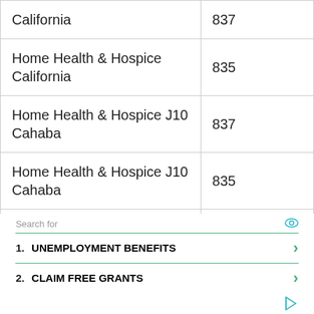|  |  |
| --- | --- |
| California | 837 |
| Home Health & Hospice California | 835 |
| Home Health & Hospice J10 Cahaba | 837 |
| Home Health & Hospice J10 Cahaba | 835 |
| Home Health & Hospice J6 NGS | 837 |
Search for
1. UNEMPLOYMENT BENEFITS
2. CLAIM FREE GRANTS